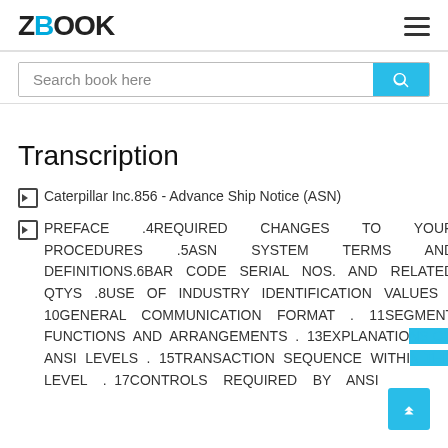ZBOOK
Search book here
Transcription
Caterpillar Inc.856 - Advance Ship Notice (ASN)
PREFACE .4REQUIRED CHANGES TO YOUR PROCEDURES .5ASN SYSTEM TERMS AND DEFINITIONS.6BAR CODE SERIAL NOS. AND RELATED QTYS .8USE OF INDUSTRY IDENTIFICATION VALUES . 10GENERAL COMMUNICATION FORMAT . 11SEGMENT FUNCTIONS AND ARRANGEMENTS . 13EXPLANATIONS OF ANSI LEVELS . 15TRANSACTION SEQUENCE WITHIN THE LEVEL . 17CONTROLS REQUIRED BY ANSI